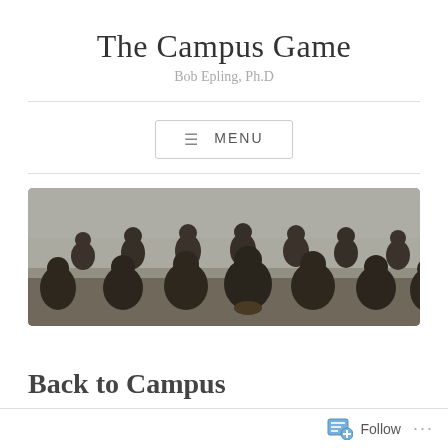The Campus Game
Bob Epling, Ph.D
[Figure (screenshot): Menu button with hamburger icon and text MENU]
[Figure (photo): Black and white photograph of a vintage football team in formation on a field, players crouching in a line ready to snap the ball]
Back to Campus
Follow ...